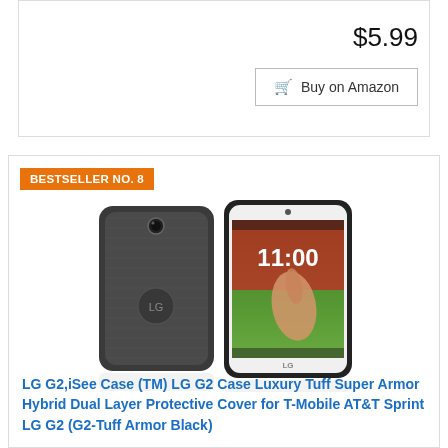$5.99
Buy on Amazon
BESTSELLER NO. 8
[Figure (photo): Two LG G2 smartphones shown from back and front, one in a dark gray protective case, one showing the screen with a hand touching it]
LG G2,iSee Case (TM) LG G2 Case Luxury Tuff Super Armor Hybrid Dual Layer Protective Cover for T-Mobile AT&T Sprint LG G2 (G2-Tuff Armor Black)